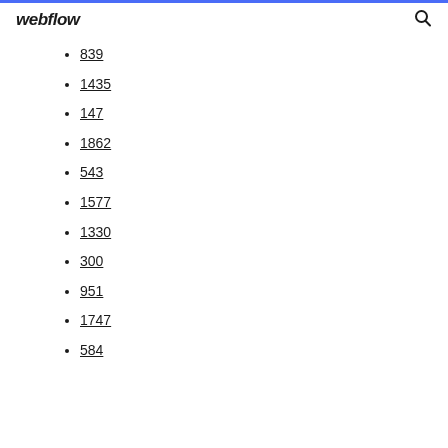webflow
839
1435
147
1862
543
1577
1330
300
951
1747
584